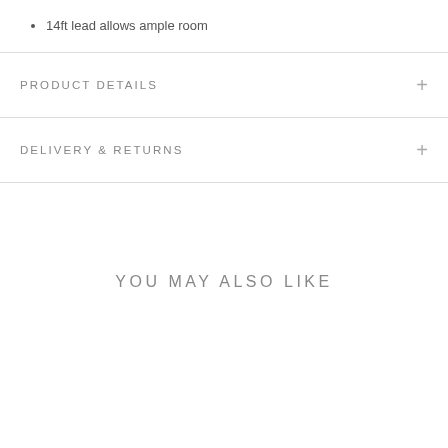14ft lead allows ample room
PRODUCT DETAILS
DELIVERY & RETURNS
YOU MAY ALSO LIKE